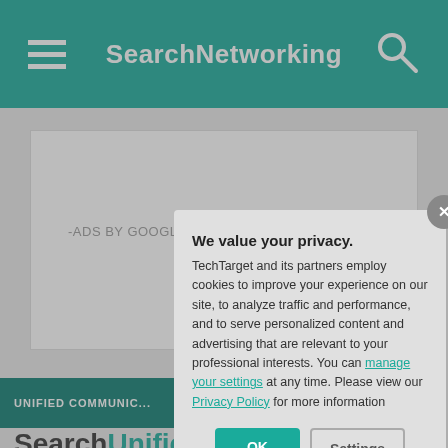SearchNetworking
-ADS BY GOOGLE
UNIFIED COMMUNIC...
SearchUnified...
Zoom updates c... rivals
Zoom has added ne... agents, giving mana... ...
We value your privacy. TechTarget and its partners employ cookies to improve your experience on our site, to analyze traffic and performance, and to serve personalized content and advertising that are relevant to your professional interests. You can manage your settings at any time. Please view our Privacy Policy for more information